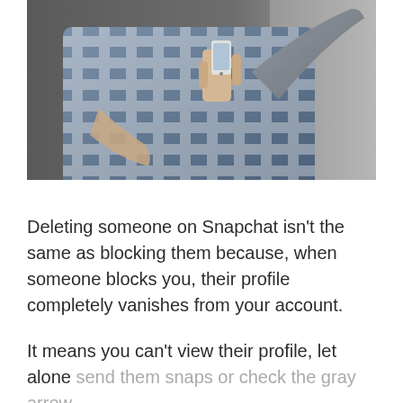[Figure (photo): A person wearing a blue and white checkered shirt holding a smartphone up with one hand, photographed against a gray background. Only the torso and hands are visible.]
Deleting someone on Snapchat isn't the same as blocking them because, when someone blocks you, their profile completely vanishes from your account.
It means you can't view their profile, let alone send them snaps or check the gray arrow.